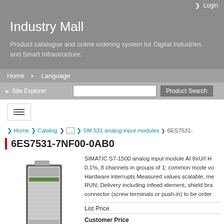Login
Industry Mall
Product catalogue and online ordering system for Digital Industries and Smart Infrastructure.
Home  Language
Site Explorer   Product Search
Home  Catalog  ...  SM 531 analog input modules  6ES7531-
6ES7531-7NF00-0AB0
[Figure (photo): Photo of SIMATIC S7-1500 analog input module, a grey rectangular DIN-rail module with green and light-grey front panel and multiple terminals.]
SIMATIC S7-1500 analog input module AI 8xU/I H 0.1%, 8 channels in groups of 1; common mode vo Hardware interrupts Measured values scalable, me RUN; Delivery including infeed element, shield bra connector (screw terminals or push-in) to be order
List Price
Customer Price
DataSheet in PDF
Service & Support (Manuals, Certificates, FAQs...